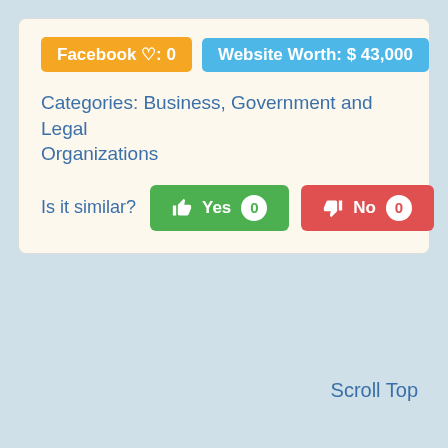Facebook ♡: 0
Website Worth: $ 43,000
Categories: Business, Government and Legal Organizations
Is it similar?  Yes 0  No 0
Scroll Top